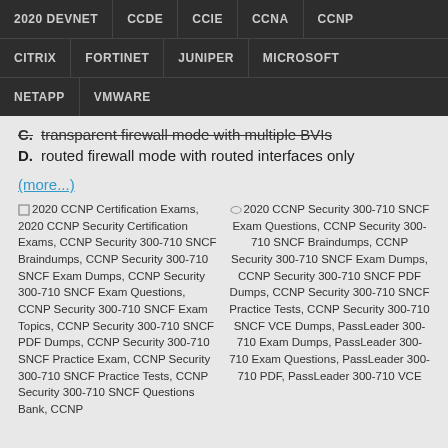2020 DEVNET | CCDE | CCIE | CCNA | CCNP | CITRIX | FORTINET | JUNIPER | MICROSOFT | NETAPP | VMWARE
C. transparent firewall mode with multiple BVIs
D. routed firewall mode with routed interfaces only
(more...)
2020 CCNP Certification Exams, 2020 CCNP Security Certification Exams, CCNP Security 300-710 SNCF Braindumps, CCNP Security 300-710 SNCF Exam Dumps, CCNP Security 300-710 SNCF Exam Questions, CCNP Security 300-710 SNCF Exam Topics, CCNP Security 300-710 SNCF PDF Dumps, CCNP Security 300-710 SNCF Practice Exam, CCNP Security 300-710 SNCF Practice Tests, CCNP Security 300-710 SNCF Questions Bank, CCNP
2020 CCNP Security 300-710 SNCF Exam Questions, CCNP Security 300-710 SNCF Braindumps, CCNP Security 300-710 SNCF Exam Dumps, CCNP Security 300-710 SNCF PDF Dumps, CCNP Security 300-710 SNCF Practice Tests, CCNP Security 300-710 SNCF VCE Dumps, PassLeader 300-710 Exam Dumps, PassLeader 300-710 Exam Questions, PassLeader 300-710 PDF, PassLeader 300-710 VCE